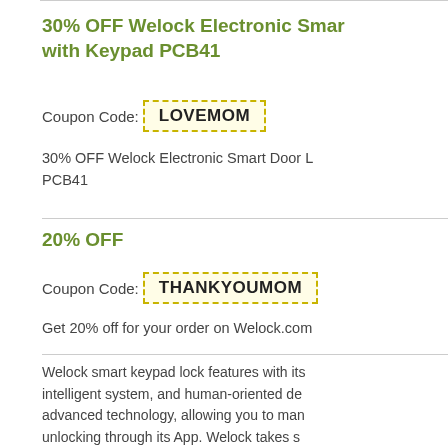30% OFF Welock Electronic Smart with Keypad PCB41
Coupon Code: LOVEMOM
30% OFF Welock Electronic Smart Door Lock with Keypad PCB41
20% OFF
Coupon Code: THANKYOUMOM
Get 20% off for your order on Welock.com
Welock smart keypad lock features with its intelligent system, and human-oriented design and advanced technology, allowing you to manage unlocking through its App. Welock takes smart fingerprint lock cylinders as its leading products, first company in the world to implement biometric technology in lock cylinders. Welock smart